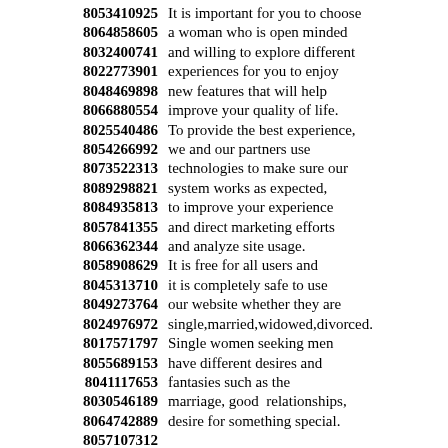8053410925 It is important for you to choose 8064858605 a woman who is open minded 8032400741 and willing to explore different 8022773901 experiences for you to enjoy 8048469898 new features that will help 8066880554 improve your quality of life. 8025540486 To provide the best experience, 8054266992 we and our partners use 8073522313 technologies to make sure our 8089298821 system works as expected, 8084935813 to improve your experience 8057841355 and direct marketing efforts 8066362344 and analyze site usage. 8058908629 It is free for all users and 8045313710 it is completely safe to use 8049273764 our website whether they are 8024976972 single,married,widowed,divorced. 8017571797 Single women seeking men 8055689153 have different desires and 8041117653 fantasies such as the 8030546189 marriage, good relationships, 8064742889 desire for something special. 8057107312 8040547161 Finding your ideal match 8087277301 in your local neighborhood